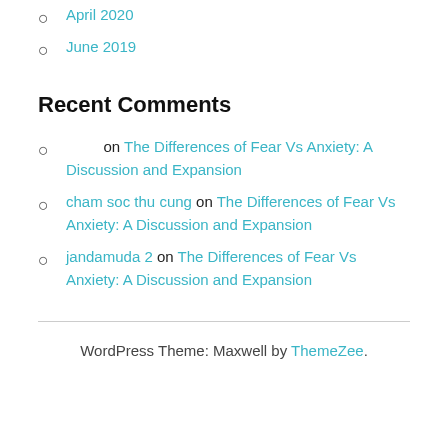April 2020
June 2019
Recent Comments
on The Differences of Fear Vs Anxiety: A Discussion and Expansion
cham soc thu cung on The Differences of Fear Vs Anxiety: A Discussion and Expansion
jandamuda 2 on The Differences of Fear Vs Anxiety: A Discussion and Expansion
WordPress Theme: Maxwell by ThemeZee.